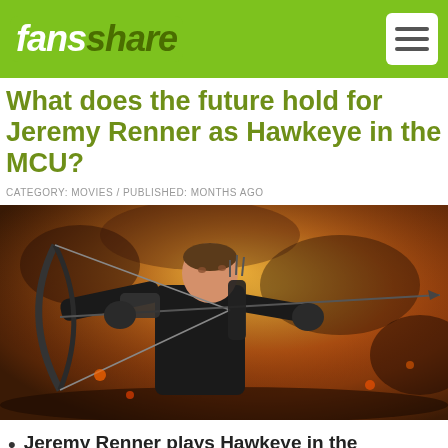fansshare
What does the future hold for Jeremy Renner as Hawkeye in the MCU?
CATEGORY: MOVIES / PUBLISHED: MONTHS AGO
[Figure (photo): Jeremy Renner as Hawkeye, dressed in black tactical gear, drawing a bow and arrow against a fiery orange explosion background]
Jeremy Renner plays Hawkeye in the